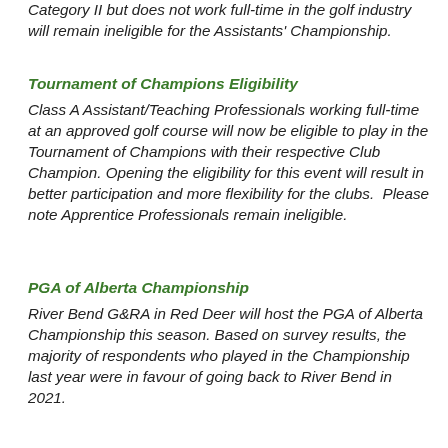Category II but does not work full-time in the golf industry will remain ineligible for the Assistants' Championship.
Tournament of Champions Eligibility
Class A Assistant/Teaching Professionals working full-time at an approved golf course will now be eligible to play in the Tournament of Champions with their respective Club Champion. Opening the eligibility for this event will result in better participation and more flexibility for the clubs.  Please note Apprentice Professionals remain ineligible.
PGA of Alberta Championship
River Bend G&RA in Red Deer will host the PGA of Alberta Championship this season. Based on survey results, the majority of respondents who played in the Championship last year were in favour of going back to River Bend in 2021.